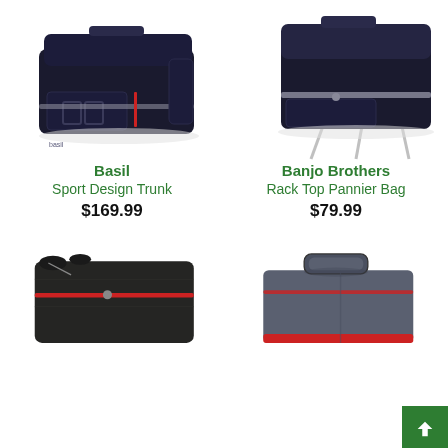[Figure (photo): Basil Sport Design Trunk bag — black bike trunk bag with silver reflective stripe and double-rectangle logo on front pocket, seen from front-right angle]
Basil
Sport Design Trunk
$169.99
[Figure (photo): Banjo Brothers Rack Top Pannier Bag — black bike rack bag with silver zipper stripe, mounted on rack rods, seen from front-right angle]
Banjo Brothers
Rack Top Pannier Bag
$79.99
[Figure (photo): Partial view of a dark bike bag with red zipper accent, bottom-left corner of page]
[Figure (photo): Partial view of a gray bike bag with handle and red accent strip, bottom-right area of page]